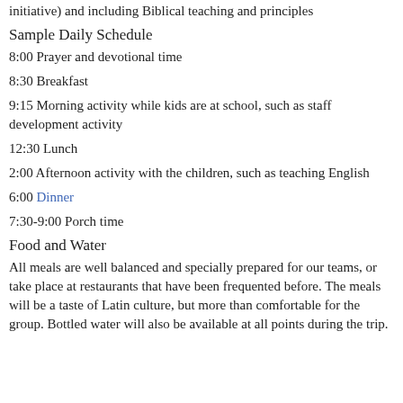initiative) and including Biblical teaching and principles
Sample Daily Schedule
8:00 Prayer and devotional time
8:30 Breakfast
9:15 Morning activity while kids are at school, such as staff development activity
12:30 Lunch
2:00 Afternoon activity with the children, such as teaching English
6:00 Dinner
7:30-9:00 Porch time
Food and Water
All meals are well balanced and specially prepared for our teams, or take place at restaurants that have been frequented before. The meals will be a taste of Latin culture, but more than comfortable for the group. Bottled water will also be available at all points during the trip.